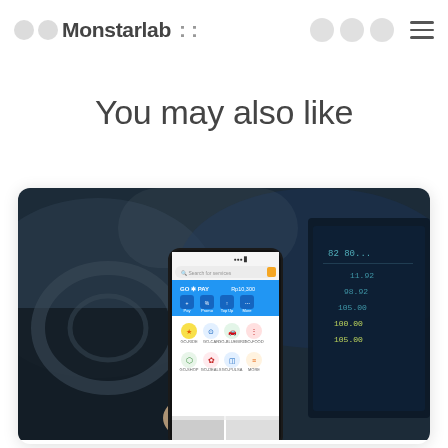Monstarlab :: ☰
You may also like
[Figure (screenshot): A hand holding a smartphone displaying the GoPay mobile app interface with blue header showing 'GO PAY' and balance 'Rp10,300', with payment options (Pay, Promo, Top Up, More) and service icons, inside a car with dashboard and digital display visible in background.]